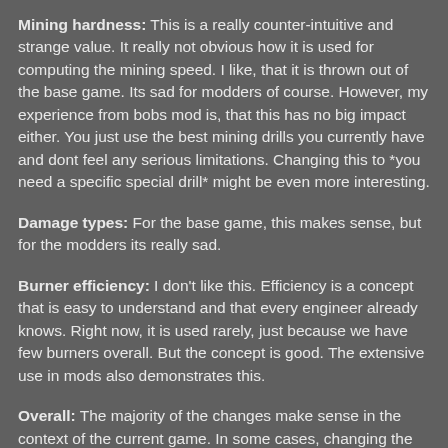Mining hardness: This is a really counter-intuitive and strange value. It really not obvious how it is used for computing the mining speed. I like, that it is thrown out of the base game. Its sad for modders of course. However, my experience from bobs mod is, that this has no big impact either. You just use the best mining drills you currently have and dont feel any serious limitations. Changing this to *you need a specific special drill* might be even more interesting.
Damage types: For the base game, this makes sense, but for the modders its really sad.
Burner efficiency: I don't like this. Efficiency is a concept that is easy to understand and that every engineer already knows. Right now, it is used rarely, just because we have few burners overall. But the concept is good. The extensive use in mods also demonstrates this.
Overall: The majority of the changes make sense in the context of the current game. In some cases, changing the context would be better than outright removal. Something that is really sad, is the amount of work of modders that is